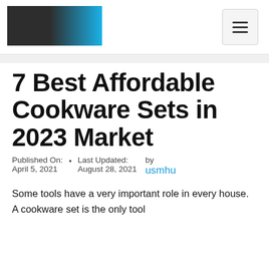[Figure (logo): Website logo: dark left half fading to bright blue right half, rectangular banner]
7 Best Affordable Cookware Sets in 2023 Market
Published On: April 5, 2021  •  Last Updated: August 28, 2021  by usmhu
Some tools have a very important role in every house. A cookware set is the only tool